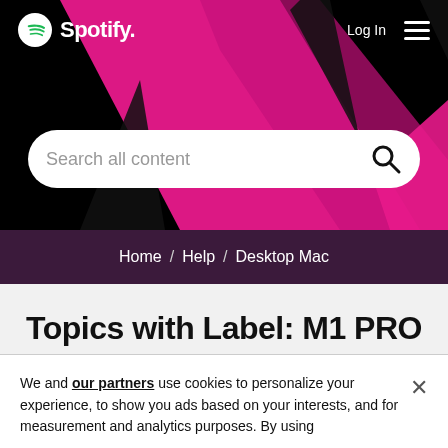[Figure (screenshot): Spotify hero banner with black background, pink/magenta diagonal geometric shapes, Spotify logo top-left, Log In and hamburger menu top-right, and a search bar reading 'Search all content']
Home / Help / Desktop Mac
Topics with Label: M1 PRO
000 (1)
We and our partners use cookies to personalize your experience, to show you ads based on your interests, and for measurement and analytics purposes. By using